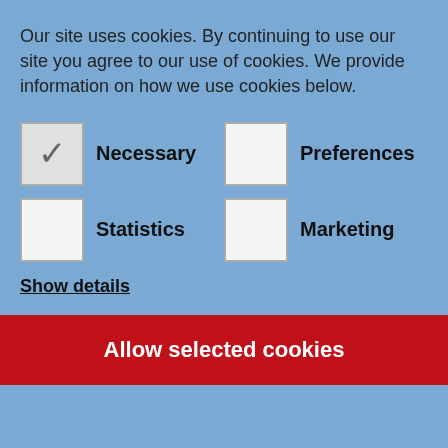Our site uses cookies. By continuing to use our site you agree to our use of cookies. We provide information on how we use cookies below.
Necessary
Preferences
Statistics
Marketing
Show details
Allow selected cookies
Committee in
OQ.135/2018 Working party established to examine the Bailiff's role
Question type:
Oral